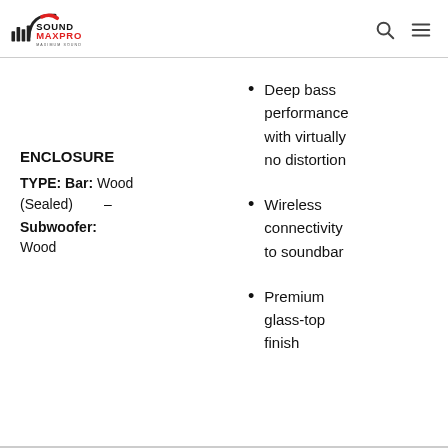SOUNDMAXPRO
ENCLOSURE
TYPE: Bar: Wood (Sealed) – Subwoofer: Wood
Deep bass performance with virtually no distortion
Wireless connectivity to soundbar
Premium glass-top finish